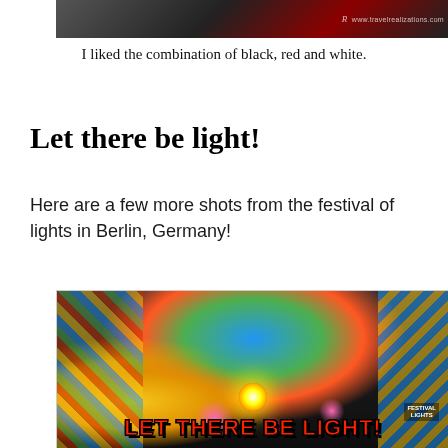[Figure (photo): Black and white photo with red architectural element, watermarked with travelrealizations.com logo]
I liked the combination of black, red and white.
Let there be light!
Here are a few more shots from the festival of lights in Berlin, Germany!
[Figure (photo): Night photo of a building illuminated with colorful light projections showing 'LET THERE BE LIGHT!' text in red letters with colorful geometric and floral patterns, Festival of Lights Berlin]